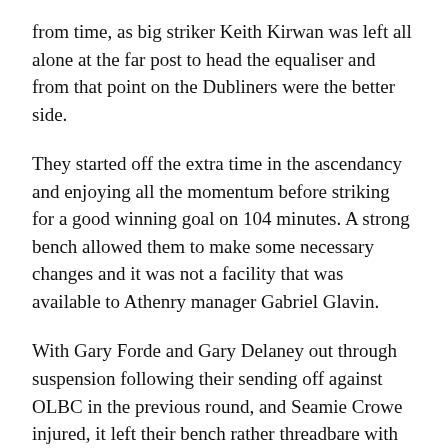from time, as big striker Keith Kirwan was left all alone at the far post to head the equaliser and from that point on the Dubliners were the better side.
They started off the extra time in the ascendancy and enjoying all the momentum before striking for a good winning goal on 104 minutes. A strong bench allowed them to make some necessary changes and it was not a facility that was available to Athenry manager Gabriel Glavin.
With Gary Forde and Gary Delaney out through suspension following their sending off against OLBC in the previous round, and Seamie Crowe injured, it left their bench rather threadbare with just a number of young squad players available.
Playing with the aid of the slight incline and any wind advantage going, the home side had a Connor Cannon